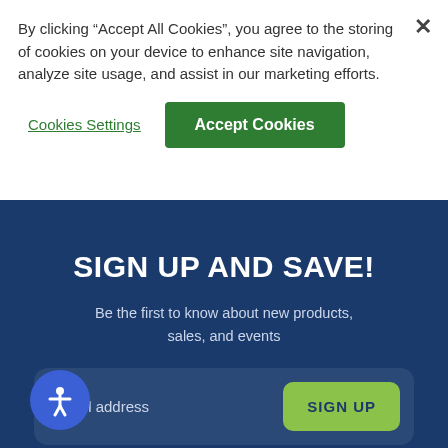By clicking “Accept All Cookies”, you agree to the storing of cookies on your device to enhance site navigation, analyze site usage, and assist in our marketing efforts.
Cookies Settings
Accept Cookies
SIGN UP AND SAVE!
Be the first to know about new products, sales, and events
Email address
SIGN UP